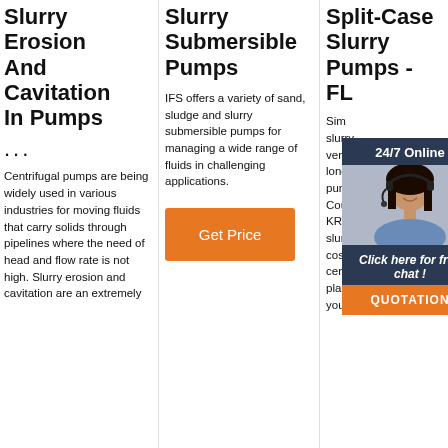Slurry Erosion And Cavitation In Pumps
...
Centrifugal pumps are being widely used in various industries for moving fluids that carry solids through pipelines where the need of head and flow rate is not high. Slurry erosion and cavitation are an extremely
Slurry Submersible Pumps
IFS offers a variety of sand, sludge and slurry submersible pumps for managing a wide range of fluids in challenging applications.
[Figure (other): Orange Get Price button]
Split-Case Slurry Pumps - FL
Sim slurry vers long pum Cou KRE slurryMAX will lower the total cost of ownership of every centrifugal pump in your plant. We think the safety of your
[Figure (other): Chat widget overlay with 24/7 Online header, woman with headset photo, Click here for free chat text, and QUOTATION button]